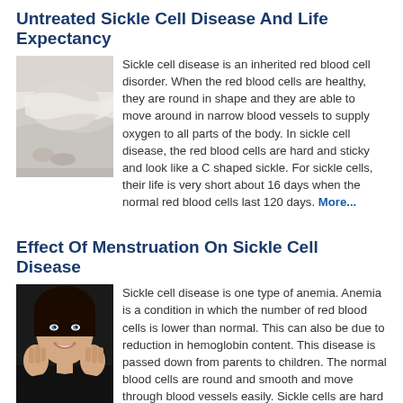Untreated Sickle Cell Disease And Life Expectancy
[Figure (photo): Person lying under white blanket/sheets, feet visible]
Sickle cell disease is an inherited red blood cell disorder. When the red blood cells are healthy, they are round in shape and they are able to move around in narrow blood vessels to supply oxygen to all parts of the body. In sickle cell disease, the red blood cells are hard and sticky and look like a C shaped sickle. For sickle cells, their life is very short about 16 days when the normal red blood cells last 120 days. More...
Effect Of Menstruation On Sickle Cell Disease
[Figure (photo): Smiling young woman with dark hair, hands on face]
Sickle cell disease is one type of anemia. Anemia is a condition in which the number of red blood cells is lower than normal. This can also be due to reduction in hemoglobin content. This disease is passed down from parents to children. The normal blood cells are round and smooth and move through blood vessels easily. Sickle cells are hard and they have a curved edge. More...